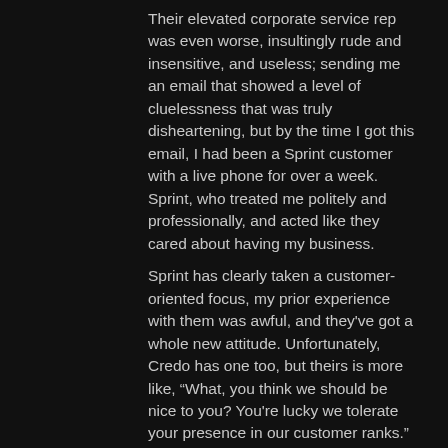Their elevated corporate service rep was even worse, insultingly rude and insensitive, and useless; sending me an email that showed a level of cluelessness that was truly disheartening, but by the time I got this email, I had been a Sprint customer with a live phone for over a week. Sprint, who treated me politely and professionally, and acted like they cared about having my business.
Sprint has clearly taken a customer-oriented focus, my prior experience with them was awful, and they've got a whole new attitude. Unfortunately, Credo has one too, but theirs is more like, “What, you think we should be nice to you? You're lucky we tolerate your presence in our customer ranks.” They've gone 180°